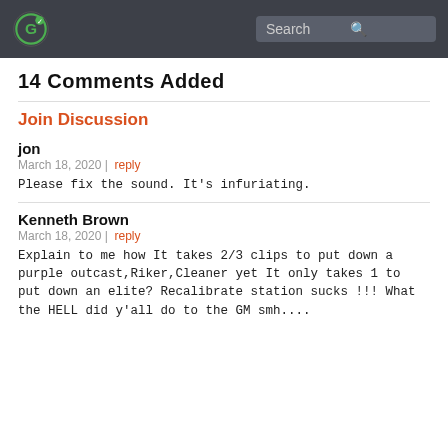Search
14 Comments Added
Join Discussion
jon
March 18, 2020 | reply
Please fix the sound. It's infuriating.
Kenneth Brown
March 18, 2020 | reply
Explain to me how It takes 2/3 clips to put down a purple outcast,Riker,Cleaner yet It only takes 1 to put down an elite? Recalibrate station sucks !!! What the HELL did y'all do to the GM smh....